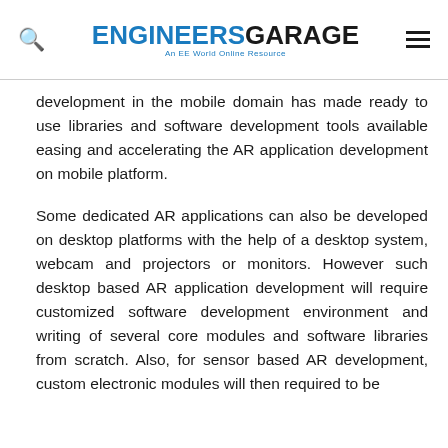ENGINEERS GARAGE — An EE World Online Resource
development in the mobile domain has made ready to use libraries and software development tools available easing and accelerating the AR application development on mobile platform.
Some dedicated AR applications can also be developed on desktop platforms with the help of a desktop system, webcam and projectors or monitors. However such desktop based AR application development will require customized software development environment and writing of several core modules and software libraries from scratch. Also, for sensor based AR development, custom electronic modules will then required to be